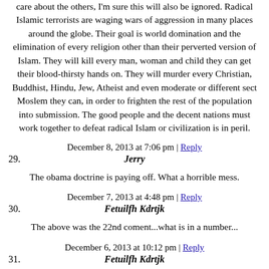care about the others, I'm sure this will also be ignored. Radical Islamic terrorists are waging wars of aggression in many places around the globe. Their goal is world domination and the elimination of every religion other than their perverted version of Islam. They will kill every man, woman and child they can get their blood-thirsty hands on. They will murder every Christian, Buddhist, Hindu, Jew, Atheist and even moderate or different sect Moslem they can, in order to frighten the rest of the population into submission. The good people and the decent nations must work together to defeat radical Islam or civilization is in peril.
December 8, 2013 at 7:06 pm | Reply
29. Jerry
The obama doctrine is paying off. What a horrible mess.
December 7, 2013 at 4:48 pm | Reply
30. Fetuilfh Kdrtjk
The above was the 22nd coment...what is in a number...
December 6, 2013 at 10:12 pm | Reply
31. Fetuilfh Kdrtjk